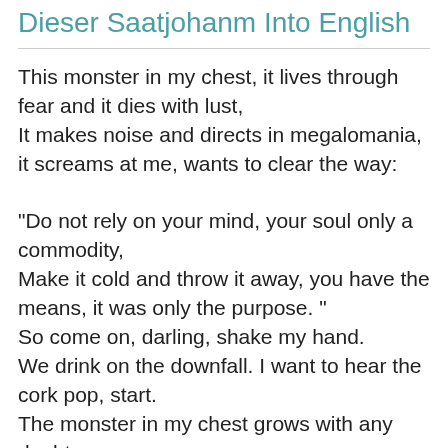Dieser Saatjohanm Into English
This monster in my chest, it lives through fear and it dies with lust,
It makes noise and directs in megalomania, it screams at me, wants to clear the way:

"Do not rely on your mind, your soul only a commodity,
Make it cold and throw it away, you have the means, it was only the purpose. "
So come on, darling, shake my hand.
We drink on the downfall. I want to hear the cork pop, start.
The monster in my chest grows with any doubt,